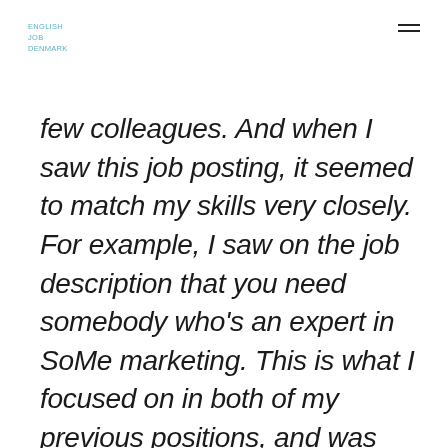ENGLISH JOB DENMARK
few colleagues. And when I saw this job posting, it seemed to match my skills very closely. For example, I saw on the job description that you need somebody who’s an expert in SoMe marketing. This is what I focused on in both of my previous positions, and was even the focus of my academic work before